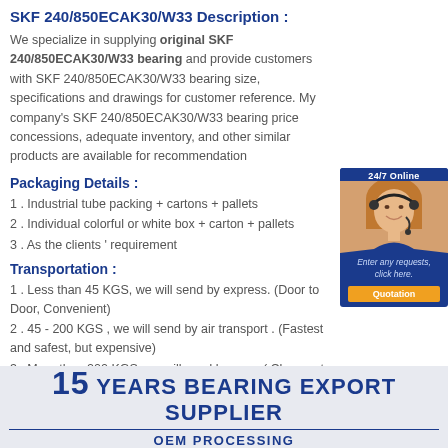SKF 240/850ECAK30/W33 Description :
We specialize in supplying original SKF 240/850ECAK30/W33 bearing and provide customers with SKF 240/850ECAK30/W33 bearing size, specifications and drawings for customer reference. My company's SKF 240/850ECAK30/W33 bearing price concessions, adequate inventory, and other similar products are available for recommendation
[Figure (photo): Customer service representative with headset, 24/7 Online chat widget with Quotation button]
Packaging Details :
1 . Industrial tube packing + cartons + pallets
2 . Individual colorful or white box + carton + pallets
3 . As the clients ' requirement
Transportation :
1 . Less than 45 KGS, we will send by express. (Door to Door, Convenient)
2 . 45 - 200 KGS , we will send by air transport . (Fastest and safest, but expensive)
3 . More than 200 KGS, we will send by sea . ( Cheapest and common use )
[Figure (infographic): Banner: 15 YEARS BEARING EXPORT SUPPLIER with OEM PROCESSING subtitle on light blue background]